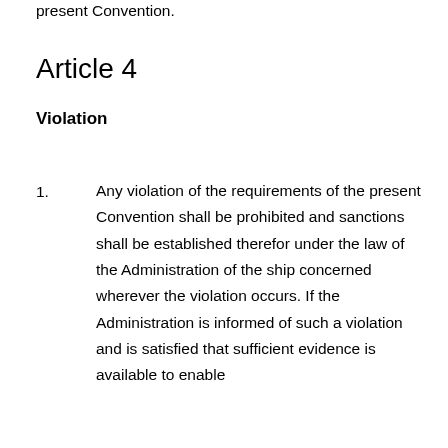present Convention.
Article 4
Violation
1. Any violation of the requirements of the present Convention shall be prohibited and sanctions shall be established therefor under the law of the Administration of the ship concerned wherever the violation occurs. If the Administration is informed of such a violation and is satisfied that sufficient evidence is available to enable